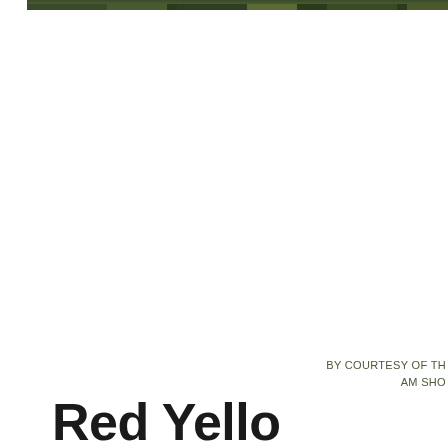[Figure (photo): Partial photograph visible at top of page, showing an outdoor scene with trees/foliage, cropped at the top edge]
BY COURTESY OF TH AM SHO
Red Yello